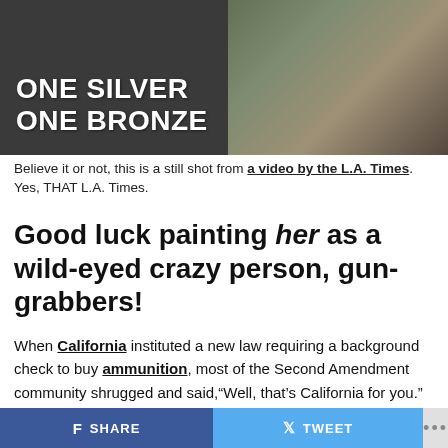[Figure (photo): A still shot showing a person holding a shotgun, with text overlay reading 'ONE SILVER ONE BRONZE' in large white bold uppercase letters on a dark background.]
Believe it or not, this is a still shot from a video by the L.A. Times. Yes, THAT L.A. Times.
Good luck painting her as a wild-eyed crazy person, gun-grabbers!
When California instituted a new law requiring a background check to buy ammunition, most of the Second Amendment community shrugged and said,“Well, that’s California for you.” However, six-time Olympic shotgun medalist Kim Rhode is not “most of the Second Amendment community,” and she is suing California. Together with four other gun rights organizations, The Second Amendment Foundation
SHARE   TWEET   ...